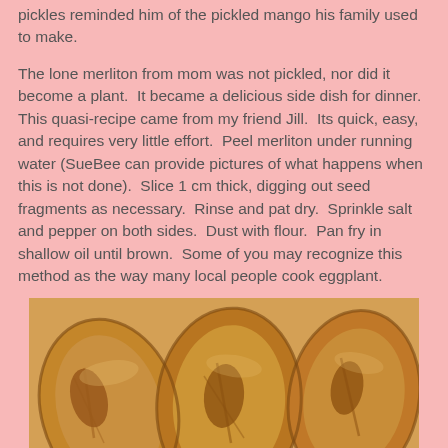pickles reminded him of the pickled mango his family used to make.
The lone merliton from mom was not pickled, nor did it become a plant.  It became a delicious side dish for dinner.  This quasi-recipe came from my friend Jill.  Its quick, easy, and requires very little effort.  Peel merliton under running water (SueBee can provide pictures of what happens when this is not done).  Slice 1 cm thick, digging out seed fragments as necessary.  Rinse and pat dry.  Sprinkle salt and pepper on both sides.  Dust with flour.  Pan fry in shallow oil until brown.  Some of you may recognize this method as the way many local people cook eggplant.
[Figure (photo): Photo of fried merliton (chayote) slices, golden brown, pan-fried, arranged close together on a plate]